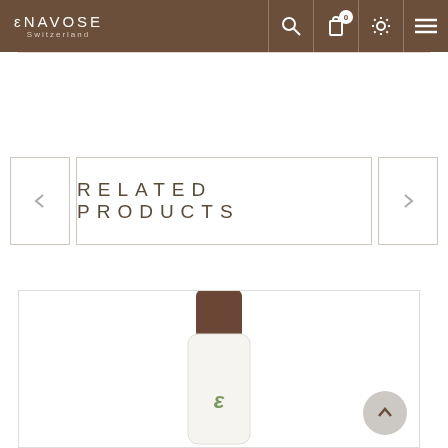ENAVOSE Switzerland — navigation bar with search, cart (0), settings, and menu icons
RELATED PRODUCTS
[Figure (photo): Enavose Switzerland cosmetic product bottle with brown cap and white body featuring green logo, shown partially cropped at bottom of page]